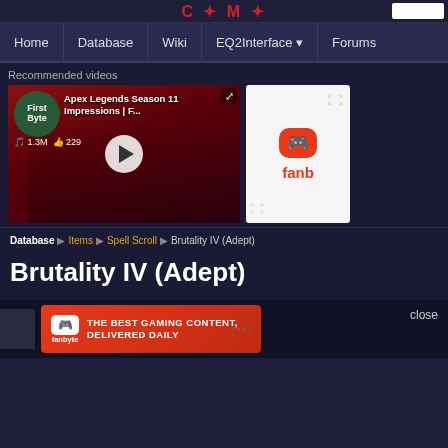Navigation: Home | Database | Wiki | EQ2Interface | Forums
[Figure (screenshot): Video thumbnail for 'Apex Legends Season 11 Impressions | F...' with 1.3M views and 229 likes, featuring a character with a sword on a red background. First Byte badge shown top left.]
Recommended videos
[Figure (logo): Fanbyte logo/advertisement side panel]
Database ▶ Items ▶ Spell Scroll ▶ Brutality IV (Adept)
Brutality IV (Adept)
[Figure (screenshot): Fanbyte banner advertisement: THE BEST GAMING CONTENT, DELIVERED DAILY]
close